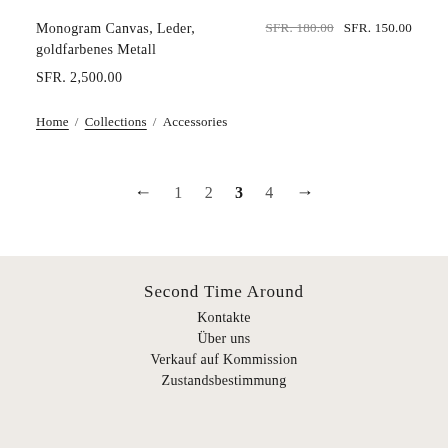Monogram Canvas, Leder, goldfarbenes Metall
SFR. 180.00 SFR. 150.00
SFR. 2,500.00
Home / Collections / Accessories
← 1 2 3 4 →
Second Time Around
Kontakte
Über uns
Verkauf auf Kommission
Zustandsbestimmung